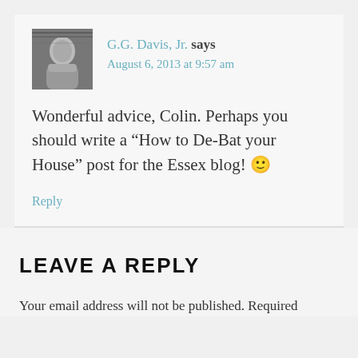[Figure (photo): Black and white avatar photo of a man]
G.G. Davis, Jr. says
August 6, 2013 at 9:57 am
Wonderful advice, Colin. Perhaps you should write a “How to De-Bat your House” post for the Essex blog! 🙂
Reply
LEAVE A REPLY
Your email address will not be published. Required